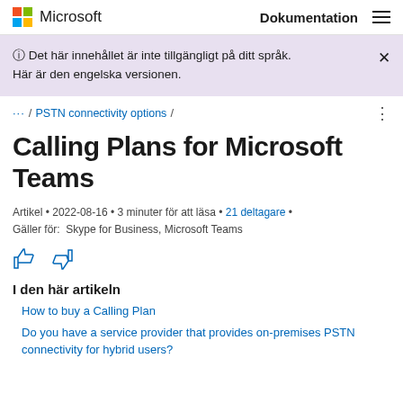Microsoft  Dokumentation
ⓘ Det här innehållet är inte tillgängligt på ditt språk. Här är den engelska versionen.
... / PSTN connectivity options /
Calling Plans for Microsoft Teams
Artikel • 2022-08-16 • 3 minuter för att läsa • 21 deltagare • Gäller för: Skype for Business, Microsoft Teams
I den här artikeln
How to buy a Calling Plan
Do you have a service provider that provides on-premises PSTN connectivity for hybrid users?